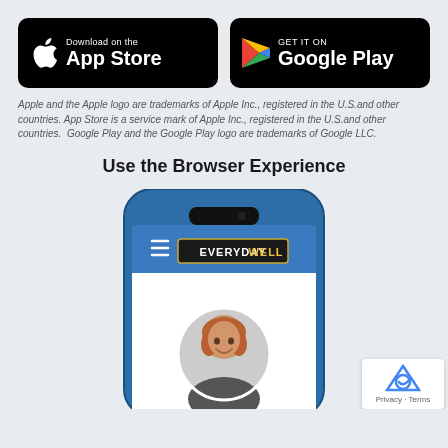[Figure (logo): App Store download button (black rounded rectangle with Apple logo and 'Download on the App Store' text)]
[Figure (logo): Google Play download button (black rounded rectangle with Google Play triangle logo and 'GET IT ON Google Play' text)]
Apple and the Apple logo are trademarks of Apple Inc., registered in the U.S.and other countries. App Store is a service mark of Apple Inc., registered in the U.S.and other countries.  Google Play and the Google Play logo are trademarks of Google LLC.
Use the Browser Experience
[Figure (screenshot): Smartphone (blue frame) showing the EverydayWell app browser interface with a circular portrait photo of a smiling woman with auburn hair]